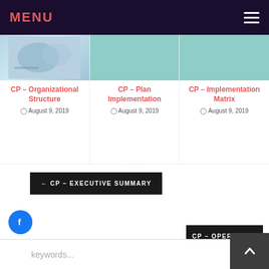MENU
CP – Organizational Structure
August 9, 2019
CP – Plan Implementation
August 9, 2019
CP – Implementation Matrix
August 9, 2019
← CP – EXECUTIVE SUMMARY
CP – OPERATING CONTEXT →
[Figure (screenshot): Social media icons: Facebook, Twitter, YouTube, WhatsApp]
keywords...